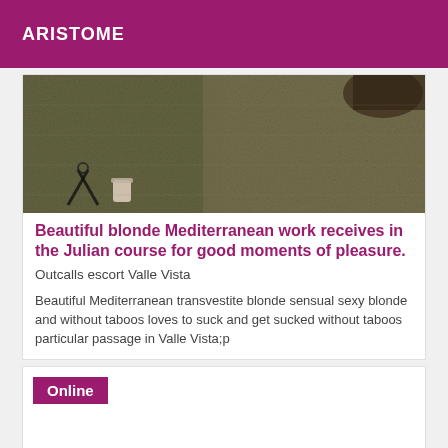ARISTOME
[Figure (photo): Close-up photo of a textured gray/green carpet or rug surface, with some objects visible including scissors, a small cup, and what appears to be a shoe or heel in the upper right.]
Beautiful blonde Mediterranean work receives in the Julian course for good moments of pleasure.
Outcalls escort Valle Vista
Beautiful Mediterranean transvestite blonde sensual sexy blonde and without taboos loves to suck and get sucked without taboos particular passage in Valle Vista;p
Online